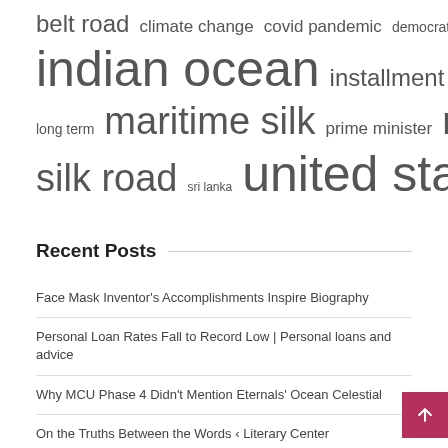[Figure (other): Tag cloud with keywords: belt road, climate change, covid pandemic, democratic socialist, indian ocean, installment loans, interest rates, joe biden, long term, maritime silk, prime minister, road initiative, silk road, sri lanka, united states — shown at varying font sizes indicating frequency/weight]
Recent Posts
Face Mask Inventor's Accomplishments Inspire Biography
Personal Loan Rates Fall to Record Low | Personal loans and advice
Why MCU Phase 4 Didn't Mention Eternals' Ocean Celestial
On the Truths Between the Words ‹ Literary Center
Developer must compile with Louisville code; libraries offer unlimited